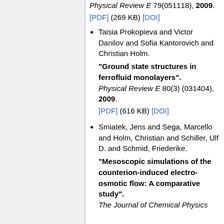Physical Review E 79(051118), 2009. [PDF] (269 KB) [DOI]
Taisia Prokopieva and Victor Danilov and Sofia Kantorovich and Christian Holm. "Ground state structures in ferrofluid monolayers". Physical Review E 80(3) (031404), 2009. [PDF] (616 KB) [DOI]
Smiatek, Jens and Sega, Marcello and Holm, Christian and Schiller, Ulf D. and Schmid, Friederike. "Mesoscopic simulations of the counterion-induced electro-osmotic flow: A comparative study". The Journal of Chemical Physics